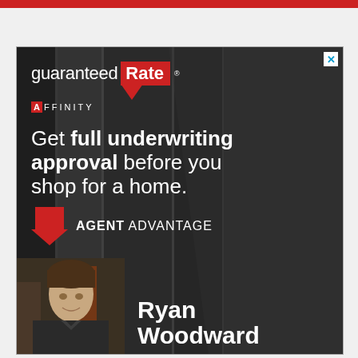[Figure (illustration): Guaranteed Rate Affinity advertisement. Dark background with panel lines. Logo: 'guaranteed Rate' with red background block and down arrow, 'AFFINITY' text below with red A-box. Main text: 'Get full underwriting approval before you shop for a home.' Red down arrow with 'AGENT ADVANTAGE' text. Photo of Ryan Woodward at bottom left.]